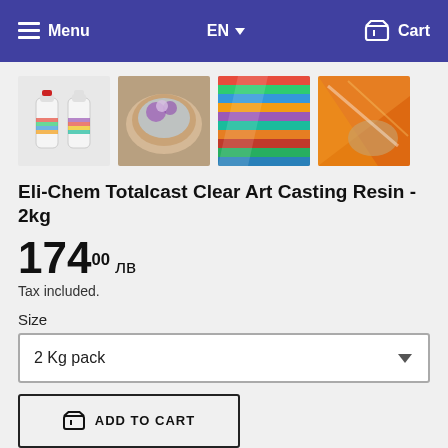Menu  EN  Cart
[Figure (photo): Four product thumbnails: two white bottles with colorful labels, a clear resin bowl with purple flowers, colorful layered resin slabs, and a hand working with orange resin art.]
Eli-Chem Totalcast Clear Art Casting Resin - 2kg
174.00 лв
Tax included.
Size
2 Kg pack
ADD TO CART